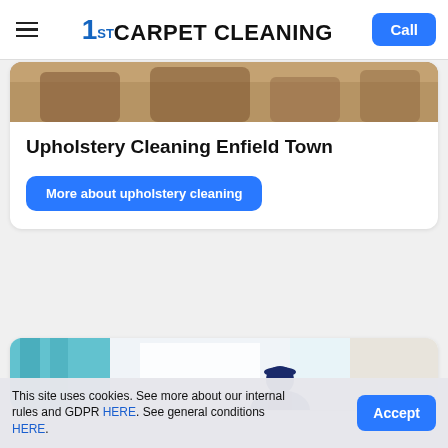1ST CARPET CLEANING | Call
[Figure (photo): Photo of upholstered furniture (chairs/sofa) - partial view at top of card]
Upholstery Cleaning Enfield Town
More about upholstery cleaning
[Figure (photo): Photo of curtain cleaning service with worker in blue uniform and blue curtains]
This site uses cookies. See more about our internal rules and GDPR HERE. See general conditions HERE.